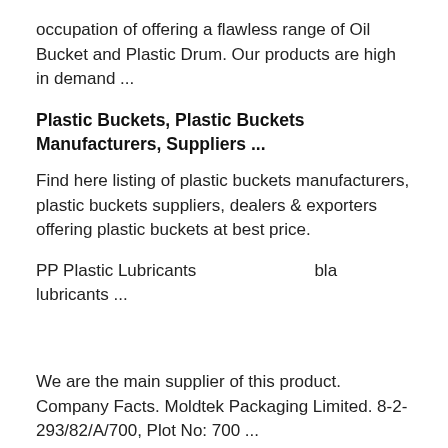occupation of offering a flawless range of Oil Bucket and Plastic Drum. Our products are high in demand ...
Plastic Buckets, Plastic Buckets Manufacturers, Suppliers ...
Find here listing of plastic buckets manufacturers, plastic buckets suppliers, dealers & exporters offering plastic buckets at best price.
PP Plastic Lubricants ... lubricants ...
[Figure (screenshot): Blue 'Get Detailed Info' pill button and blue circular mail/envelope icon button overlaid on the page]
We are the main supplier of this product. Company Facts. Moldtek Packaging Limited. 8-2-293/82/A/700, Plot No: 700 ...
Plastic Lubricants Buckets Buy plastic lubricants buckets in ...
Buy Plastic Lubricants Buckets from Moldtek